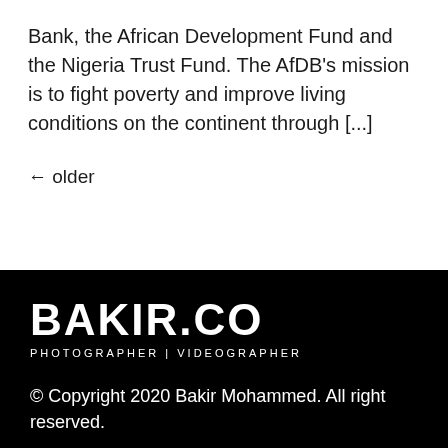Bank, the African Development Fund and the Nigeria Trust Fund. The AfDB's mission is to fight poverty and improve living conditions on the continent through [...]
← older
BAKIR.CO
PHOTOGRAPHER | VIDEOGRAPHER
© Copyright 2020 Bakir Mohammed. All right reserved.